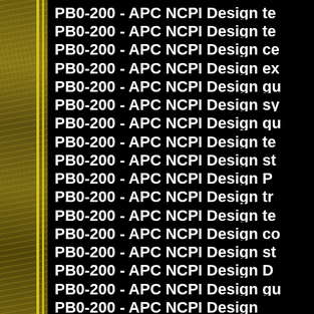PB0-200 - APC NCPI Design te
PB0-200 - APC NCPI Design te
PB0-200 - APC NCPI Design ce
PB0-200 - APC NCPI Design ex
PB0-200 - APC NCPI Design gu
PB0-200 - APC NCPI Design sy
PB0-200 - APC NCPI Design qu
PB0-200 - APC NCPI Design te
PB0-200 - APC NCPI Design st
PB0-200 - APC NCPI Design P
PB0-200 - APC NCPI Design tr
PB0-200 - APC NCPI Design te
PB0-200 - APC NCPI Design co
PB0-200 - APC NCPI Design st
PB0-200 - APC NCPI Design D
PB0-200 - APC NCPI Design gu
PB0-200 - APC NCPI Design...